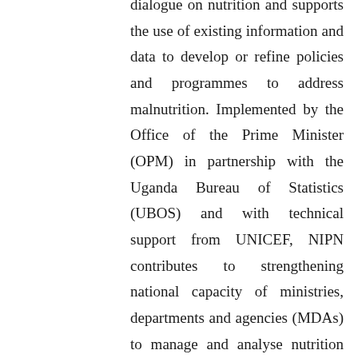dialogue on nutrition and supports the use of existing information and data to develop or refine policies and programmes to address malnutrition. Implemented by the Office of the Prime Minister (OPM) in partnership with the Uganda Bureau of Statistics (UBOS) and with technical support from UNICEF, NIPN contributes to strengthening national capacity of ministries, departments and agencies (MDAs) to manage and analyse nutrition information and data from all sectors for evidence-informed decision making. This project is engaged in the establishment of a central nutrition data repository and